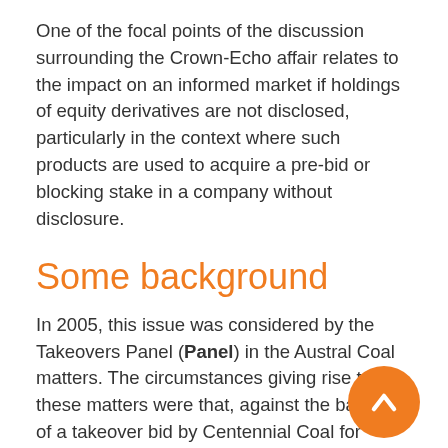One of the focal points of the discussion surrounding the Crown-Echo affair relates to the impact on an informed market if holdings of equity derivatives are not disclosed, particularly in the context where such products are used to acquire a pre-bid or blocking stake in a company without disclosure.
Some background
In 2005, this issue was considered by the Takeovers Panel (Panel) in the Austral Coal matters. The circumstances giving rise to these matters were that, against the backdrop of a takeover bid by Centennial Coal for Austral Coal, Glencore entered into cash-settled equity swaps in relation to shares in Austral Coal which were not disclosed in a timely manner to the market. Although the Panel determined that Glencore's failure to disclose its economic